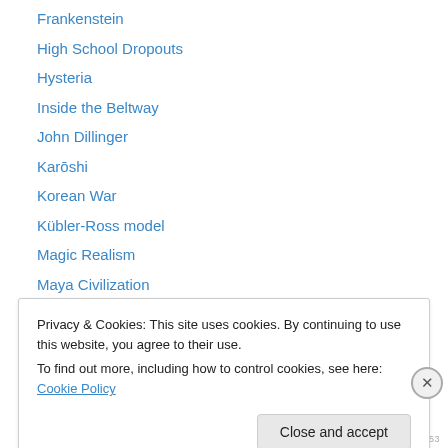Frankenstein
High School Dropouts
Hysteria
Inside the Beltway
John Dillinger
Karōshi
Korean War
Kübler-Ross model
Magic Realism
Maya Civilization
McDonald's
Mule (smuggling)
Pan (god)
Privacy & Cookies: This site uses cookies. By continuing to use this website, you agree to their use.
To find out more, including how to control cookies, see here: Cookie Policy
REDIRECT153